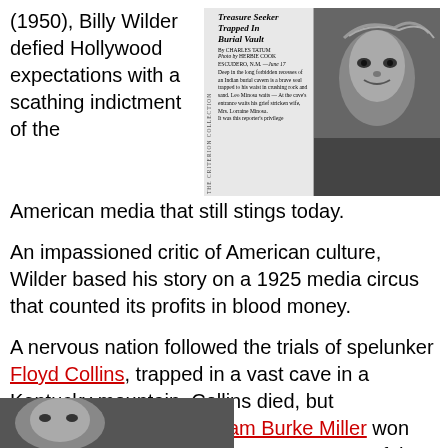(1950), Billy Wilder defied Hollywood expectations with a scathing indictment of the American media that still stings today.
[Figure (photo): Newspaper clipping with headline 'Treasure Seeker Trapped In Burial Vault' by Charles Tatum, with Criterion Collection label on the side, alongside a black-and-white photo of a man's face]
An impassioned critic of American culture, Wilder based his story on a 1925 media circus that counted its profits in blood money.
A nervous nation followed the trials of spelunker Floyd Collins, trapped in a vast cave in a Kentucky mountain. Collins died, but unorthodox reporter William Burke Miller won the Pulitzer Prize for his eager coverage of the story.
[Figure (photo): Black-and-white photograph at bottom of page, partially visible]